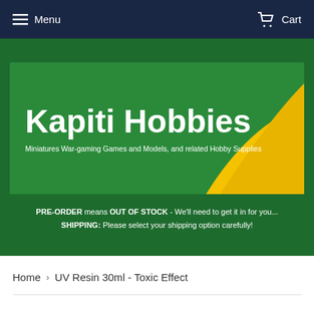Menu  Cart
[Figure (logo): Kapiti Hobbies logo banner — green background with yellow wave decoration, white bold text 'Kapiti Hobbies' and subtitle 'Miniatures War-gaming Games and Models, and related Hobby Supplies']
PRE-ORDER means OUT OF STOCK - We'll need to get it in for you... SHIPPING: Please select your shipping option carefully!
Home › UV Resin 30ml - Toxic Effect